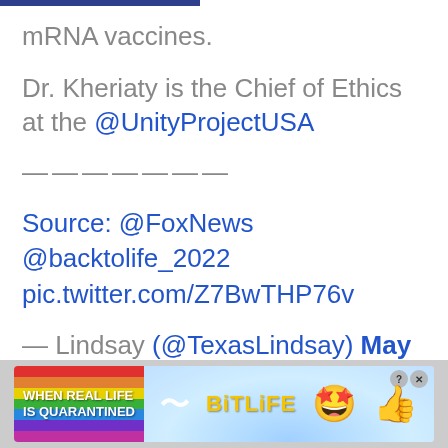mRNA vaccines.
Dr. Kheriaty is the Chief of Ethics at the @UnityProjectUSA
———————
Source: @FoxNews
@backtolife_2022
pic.twitter.com/Z7BwTHP76v
— Lindsay (@TexasLindsay) May 7,
[Figure (advertisement): BitLife mobile game advertisement with rainbow left panel reading 'WHEN REAL LIFE IS QUARANTINED' and blue background panel with BitLife logo and emoji characters]